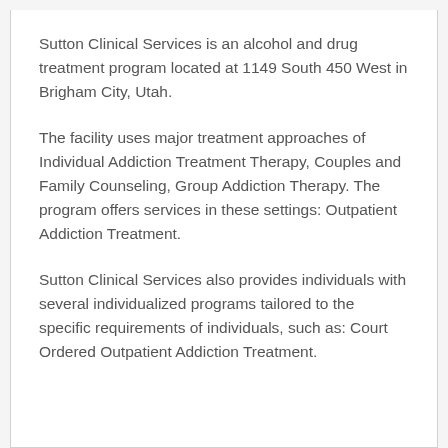Sutton Clinical Services is an alcohol and drug treatment program located at 1149 South 450 West in Brigham City, Utah.
The facility uses major treatment approaches of Individual Addiction Treatment Therapy, Couples and Family Counseling, Group Addiction Therapy. The program offers services in these settings: Outpatient Addiction Treatment.
Sutton Clinical Services also provides individuals with several individualized programs tailored to the specific requirements of individuals, such as: Court Ordered Outpatient Addiction Treatment.